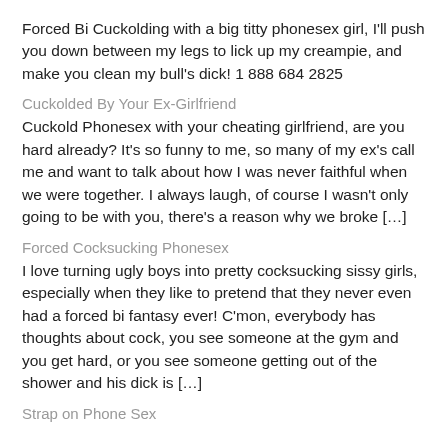Forced Bi Cuckolding with a big titty phonesex girl, I'll push you down between my legs to lick up my creampie, and make you clean my bull's dick! 1 888 684 2825
Cuckolded By Your Ex-Girlfriend
Cuckold Phonesex with your cheating girlfriend, are you hard already? It's so funny to me, so many of my ex's call me and want to talk about how I was never faithful when we were together. I always laugh, of course I wasn't only going to be with you, there's a reason why we broke […]
Forced Cocksucking Phonesex
I love turning ugly boys into pretty cocksucking sissy girls, especially when they like to pretend that they never even had a forced bi fantasy ever! C'mon, everybody has thoughts about cock, you see someone at the gym and you get hard, or you see someone getting out of the shower and his dick is […]
Strap on Phone Sex